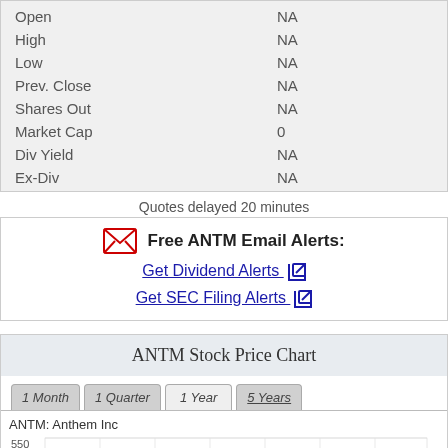| Field | Value |
| --- | --- |
| Open | NA |
| High | NA |
| Low | NA |
| Prev. Close | NA |
| Shares Out | NA |
| Market Cap | 0 |
| Div Yield | NA |
| Ex-Div | NA |
Quotes delayed 20 minutes
Free ANTM Email Alerts:
Get Dividend Alerts
Get SEC Filing Alerts
ANTM Stock Price Chart
[Figure (line-chart): ANTM stock price line chart showing price levels around 500-550 range, with time tabs: 1 Month, 1 Quarter, 1 Year, 5 Years]